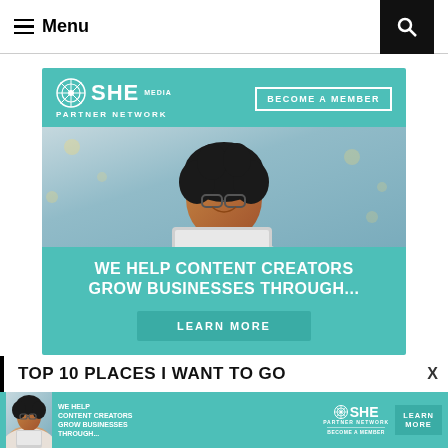Menu
[Figure (illustration): SHE Media Partner Network advertisement banner. Teal background with logo, 'BECOME A MEMBER' button, photo of smiling woman with glasses using laptop, text 'WE HELP CONTENT CREATORS GROW BUSINESSES THROUGH...' and 'LEARN MORE' button.]
Report ad
TOP 10 PLACES I WANT TO GO
[Figure (illustration): SHE Media Partner Network bottom banner ad. Teal strip with photo of woman, text 'WE HELP CONTENT CREATORS GROW BUSINESSES THROUGH...', SHE Media logo, and LEARN MORE button.]